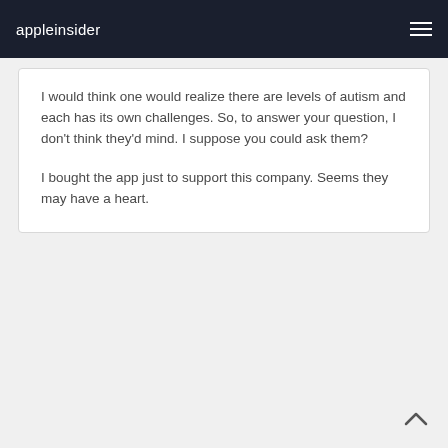appleinsider
I would think one would realize there are levels of autism and each has its own challenges. So, to answer your question, I don't think they'd mind. I suppose you could ask them?
I bought the app just to support this company. Seems they may have a heart.